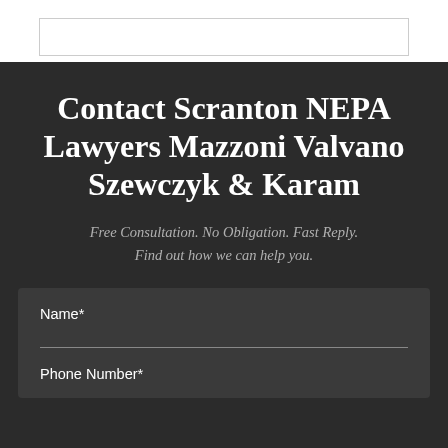Contact Scranton NEPA Lawyers Mazzoni Valvano Szewczyk & Karam
Free Consultation. No Obligation. Fast Reply. Find out how we can help you.
Name*
Phone Number*